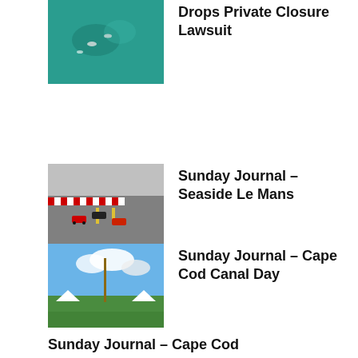[Figure (photo): Aerial view of teal/turquoise water with swimmers or divers visible from above]
Drops Private Closure Lawsuit
[Figure (photo): Go-karts racing on a track with red and white barriers]
Sunday Journal – Seaside Le Mans
[Figure (photo): Outdoor festival or fair with a tall decorated pole and crowds on a green field under blue sky with clouds]
Sunday Journal – Cape Cod Canal Day
Sunday Journal – Cape Cod